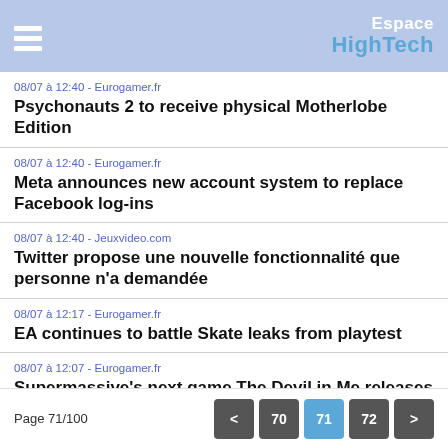Espace HighTech
08/07 à 12:40 - Eurogamer.fr
Psychonauts 2 to receive physical Motherlobe Edition
08/07 à 12:40 - Eurogamer.fr
Meta announces new account system to replace Facebook log-ins
08/07 à 12:40 - Jeuxvideo.com
Twitter propose une nouvelle fonctionnalité que personne n'a demandée
08/07 à 12:17 - Eurogamer.fr
EA continues to battle Skate leaks from playtest
08/07 à 12:07 - Eurogamer.fr
Supermassive's next game The Devil in Me releases this autumn
Page 71/100  < 70 71 72 >